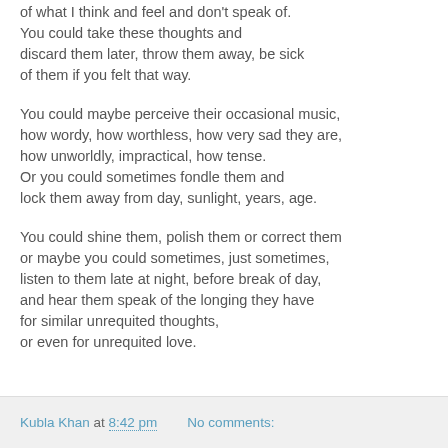of what I think and feel and don't speak of.
You could take these thoughts and
discard them later, throw them away, be sick
of them if you felt that way.
You could maybe perceive their occasional music,
how wordy, how worthless, how very sad they are,
how unworldly, impractical, how tense.
Or you could sometimes fondle them and
lock them away from day, sunlight, years, age.
You could shine them, polish them or correct them
or maybe you could sometimes, just sometimes,
listen to them late at night, before break of day,
and hear them speak of the longing they have
for similar unrequited thoughts,
or even for unrequited love.
Kubla Khan at 8:42 pm   No comments: